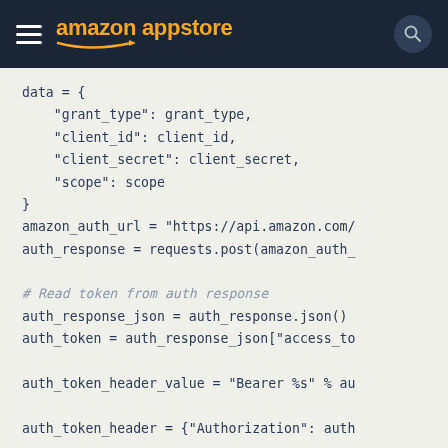amazon appstore
data = {
    "grant_type": grant_type,
    "client_id": client_id,
    "client_secret": client_secret,
    "scope": scope
}
amazon_auth_url = "https://api.amazon.com/
auth_response = requests.post(amazon_auth_

# Read token from auth response
auth_response_json = auth_response.json()
auth_token = auth_response_json["access_to

auth_token_header_value = "Bearer %s" % au

auth_token_header = {"Authorization": auth